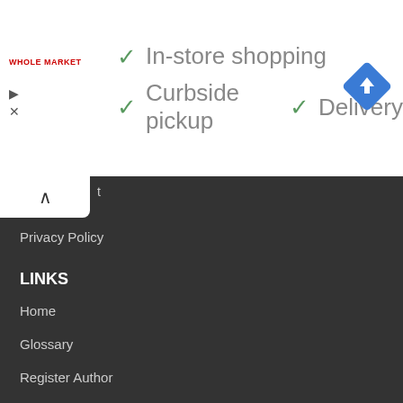[Figure (logo): Whole Market store logo in red text]
In-store shopping
Curbside pickup
Delivery
[Figure (logo): Blue diamond navigation/directions icon with white arrow]
Privacy Policy
LINKS
Home
Glossary
Register Author
Mail Us
CONNECT WITH US